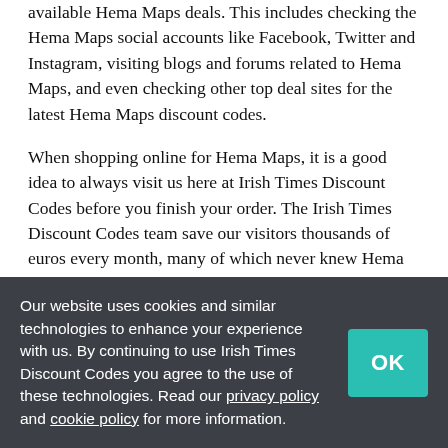available Hema Maps deals. This includes checking the Hema Maps social accounts like Facebook, Twitter and Instagram, visiting blogs and forums related to Hema Maps, and even checking other top deal sites for the latest Hema Maps discount codes.
When shopping online for Hema Maps, it is a good idea to always visit us here at Irish Times Discount Codes before you finish your order. The Irish Times Discount Codes team save our visitors thousands of euros every month, many of which never knew Hema Maps discount codes were available until visiting our site. Now that you know how easy it is to save at Hema Maps with our promo and discount codes, bookmark Irish Times Discount Codes and always check us out before you checkout.
If you are looking for more than just Hema Maps discount codes, here at Irish Times Discount Codes we also...
Our website uses cookies and similar technologies to enhance your experience with us. By continuing to use Irish Times Discount Codes you agree to the use of these technologies. Read our privacy policy and cookie policy for more information.